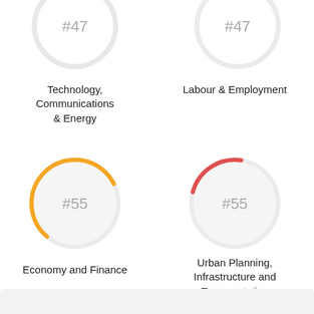[Figure (donut-chart): Technology, Communications & Energy]
[Figure (donut-chart): Labour & Employment]
Technology, Communications & Energy
Labour & Employment
[Figure (donut-chart): Economy and Finance]
[Figure (donut-chart): Urban Planning, Infrastructure and Transportation]
Economy and Finance
Urban Planning, Infrastructure and Transportation
↓  View More